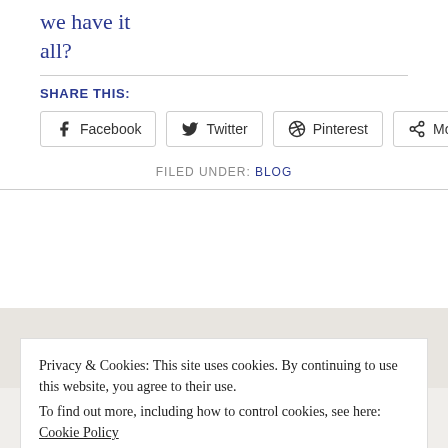we have it all?
SHARE THIS:
Facebook  Twitter  Pinterest  More
FILED UNDER: BLOG
Privacy & Cookies: This site uses cookies. By continuing to use this website, you agree to their use.
To find out more, including how to control cookies, see here: Cookie Policy
Close and accept